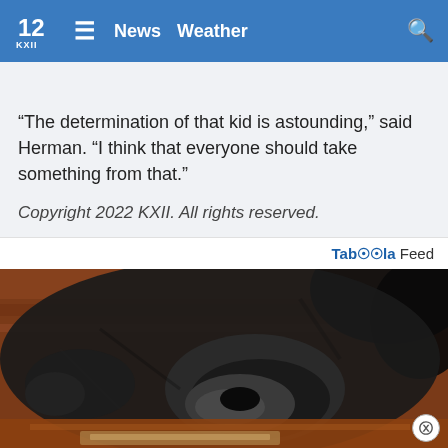KXII 12 News Weather
“The determination of that kid is astounding,” said Herman. “I think that everyone should take something from that.”
Copyright 2022 KXII. All rights reserved.
Taboola Feed
[Figure (photo): Close-up photo of a black dog's face and paw resting on a wooden surface, with a reflective tray below.]